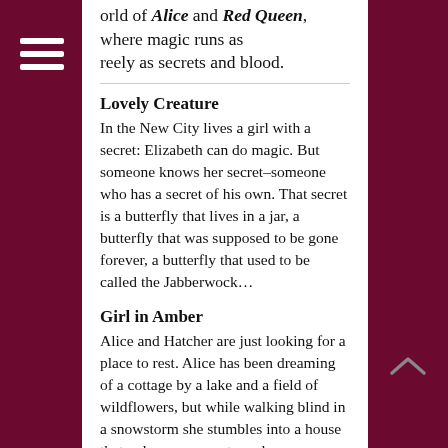world of Alice and Red Queen, where magic runs as freely as secrets and blood.
Lovely Creature
In the New City lives a girl with a secret: Elizabeth can do magic. But someone knows her secret–someone who has a secret of his own. That secret is a butterfly that lives in a jar, a butterfly that was supposed to be gone forever, a butterfly that used to be called the Jabberwock…
Girl in Amber
Alice and Hatcher are just looking for a place to rest. Alice has been dreaming of a cottage by a lake and a field of wildflowers, but while walking blind in a snowstorm she stumbles into a house that only seems empty and abandoned…
When I First Came to Town
Hatcher wasn't always Hatcher. Once, he was a boy called Nicholas, and Nicholas fancied himself the best fighter in the Old City. No matter who fought him he always won. Then his boss tells him he's going to battle the fearsome Grinder, a man who never leaves his opponents alive…